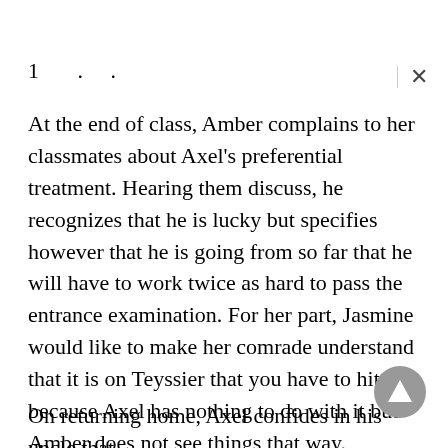1 . . .
At the end of class, Amber complains to her classmates about Axel's preferential treatment. Hearing them discuss, he recognizes that he is lucky but specifies however that he is going from so far that he will have to work twice as hard to pass the entrance examination. For her part, Jasmine would like to make her comrade understand that it is on Teyssier that you have to hit because Axel has nothing to do with it but Amber does not see things that way.
On returning home, Axel confides in his uncle that